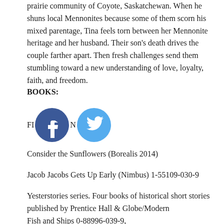prairie community of Coyote, Saskatchewan. When he shuns local Mennonites because some of them scorn his mixed parentage, Tina feels torn between her Mennonite heritage and her husband. Their son's death drives the couple farther apart. Then fresh challenges send them stumbling toward a new understanding of love, loyalty, faith, and freedom.
BOOKS:
FIND ME ON [Facebook icon] [Twitter icon]
Consider the Sunflowers (Borealis 2014)
Jacob Jacobs Gets Up Early (Nimbus) 1-55109-030-9
Yesterstories series. Four books of historical short stories published by Prentice Hall & Globe/Modern
Fish and Ships 0-88996-039-9,
The Lost Lemon Mine 0-88996-030-5,
The Ghostly Trapper 0-88996-028-3,
The Lady with the Missing Finger 0-88996-032-1
PICTURE BOOKS